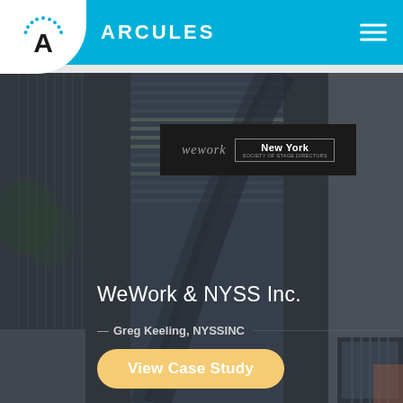[Figure (logo): Arcules company logo: white circle background with letter A and dotted arc above, on blue header bar]
ARCULES
[Figure (screenshot): Navigation hamburger menu icon (three horizontal white lines) on blue background]
[Figure (photo): Background photo of modern glass building facade with dark overlay]
[Figure (logo): WeWork and New York logos side by side on dark background box]
WeWork & NYSS Inc.
— Greg Keeling, NYSSINC
View Case Study